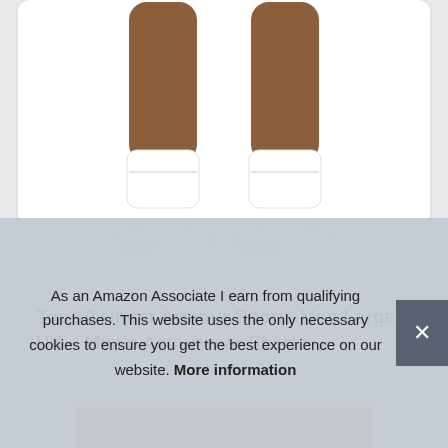[Figure (photo): Lower half of a person wearing white athletic shorts, white socks, and white sneakers on a white background.]
Top 10 Under Armour Shorts Men Large UK – Men's Activewear Shorts
[Figure (photo): Partial view of a woman with blonde hair, wearing pink activewear, cropped at chin level.]
As an Amazon Associate I earn from qualifying purchases. This website uses the only necessary cookies to ensure you get the best experience on our website. More information